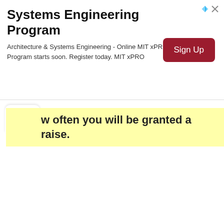[Figure (screenshot): Advertisement banner for MIT xPRO Systems Engineering Program with a 'Sign Up' button]
w often you will be granted a raise.